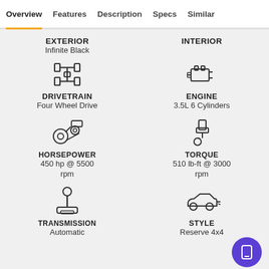Overview | Features | Description | Specs | Similar
EXTERIOR
Infinite Black
INTERIOR
[Figure (illustration): Drivetrain / four-wheel-drive icon (top view of axle and wheels)]
DRIVETRAIN
Four Wheel Drive
[Figure (illustration): Engine icon]
ENGINE
3.5L 6 Cylinders
[Figure (illustration): Horsepower / belt drive icon]
HORSEPOWER
450 hp @ 5500 rpm
[Figure (illustration): Piston / torque icon]
TORQUE
510 lb-ft @ 3000 rpm
[Figure (illustration): Gear shifter / transmission icon]
TRANSMISSION
Automatic
[Figure (illustration): Car side profile / style icon]
STYLE
Reserve 4x4